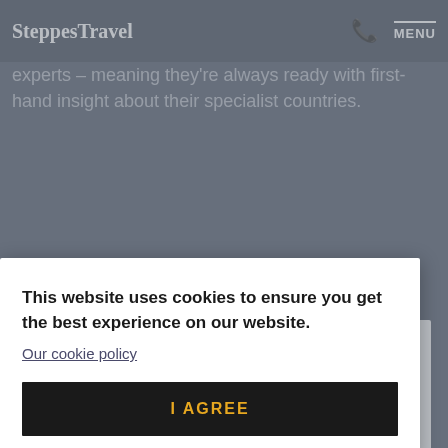SteppesTravel  MENU
experts – meaning they're always ready with first-hand insight about their specialist countries.
[Figure (photo): Partial view of a white card with a circular cropped photo showing a person wearing sunglasses, and an orange underline at the bottom.]
This website uses cookies to ensure you get the best experience on our website.
Our cookie policy
I AGREE